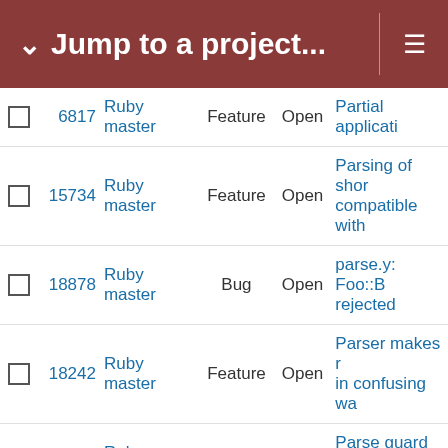Jump to a project...
|  | ID | Project | Type | Status | Description |
| --- | --- | --- | --- | --- | --- |
|  | 6817 | Ruby master | Feature | Open | Partial applicati... |
|  | 15734 | Ruby master | Feature | Open | Parsing of shor... compatible with... |
|  | 18878 | Ruby master | Bug | Open | parse.y: Foo::B... rejected |
|  | 18242 | Ruby master | Feature | Open | Parser makes r... in confusing wa... |
|  | 14785 | Ruby master | Feature | Open | Parse guard sta... conditionals |
|  | 12094 | Ruby master | Feature | Open | parameterized ... o.prop(arg) = 1... |
|  | 18731 | Ruby master | Bug | Open | Parallel test-all... run at all some... |
|  | 9614 | Ruby master | Feature | Open | ordering of non... st_ internally |
|  | 15945 | Ruby master | Feature | Open | Option to trunca... `String#rjust`, a... |
|  | 18783 | Ruby master | Bug | Open | OptionParser s... an optional arg... |